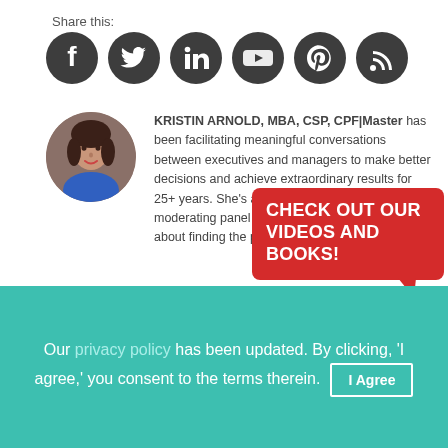Share this:
[Figure (illustration): Row of 6 social media icons (Facebook, Twitter, LinkedIn, YouTube, Pinterest, RSS) as dark gray circles]
[Figure (photo): Circular avatar photo of Kristin Arnold, a woman with dark hair wearing a blue top]
KRISTIN ARNOLD, MBA, CSP, CPF|Master has been facilitating meaningful conversations between executives and managers to make better decisions and achieve extraordinary results for 25+ years. She's a leading authority on moderating panel discussions and passionate about finding the perfect olive to complement...
[Figure (illustration): Red speech bubble with text CHECK OUT OUR VIDEOS AND BOOKS!]
Our privacy policy has been updated. By clicking, 'I agree,' you consent to the terms therein.   I Agree